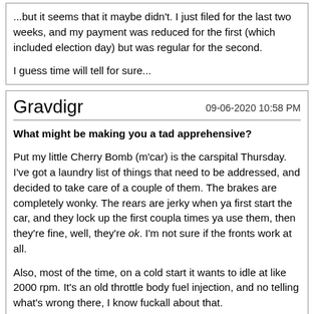...but it seems that it maybe didn't. I just filed for the last two weeks, and my payment was reduced for the first (which included election day) but was regular for the second.

I guess time will tell for sure...
Gravdigr   09-06-2020 10:58 PM
What might be making you a tad apprehensive?

Put my little Cherry Bomb (m'car) is the carspital Thursday. I've got a laundry list of things that need to be addressed, and decided to take care of a couple of them. The brakes are completely wonky. The rears are jerky when ya first start the car, and they lock up the first coupla times ya use them, then they're fine, well, they're ok. I'm not sure if the fronts work at all.

Also, most of the time, on a cold start it wants to idle at like 2000 rpm. It's an old throttle body fuel injection, and no telling what's wrong there, I know fuckall about that.

Between not-so-easy-to-find-parts and labor, I'm expecting to spend right around a thousand bucks.

And haven't even started on the front end. It needs a bumper cover, the actual steel bumper behind it, brackets for same, the hood latch mount, a headlight bucket, two headlights, two parking lights, air dam. The roeton has a hole that needs to be re-repaired, too. The weather...